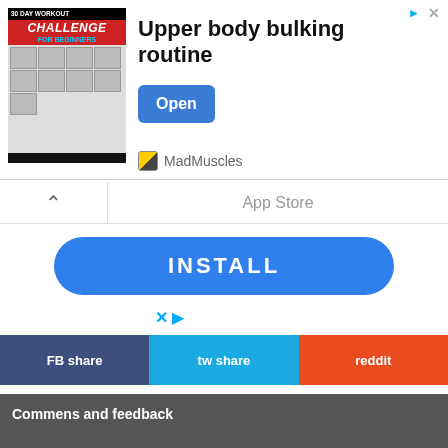[Figure (screenshot): Advertisement banner for '30 Day Workout Challenge for Beginners' by MadMuscles with Open button]
App Store
[Figure (screenshot): Blue INSTALL button for app]
[Figure (screenshot): Ad icons (X and play/triangle)]
FB share
tw share
reddit
Commens and feedback